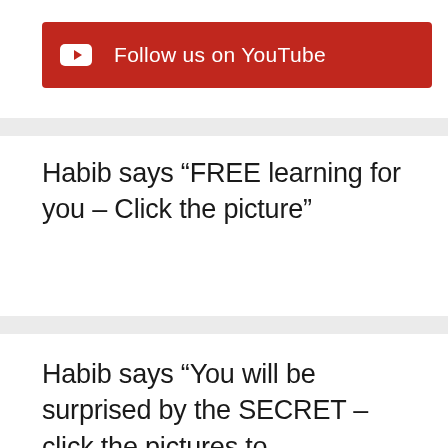[Figure (logo): YouTube follow us banner - red background with YouTube icon and text 'Follow us on YouTube' in white]
Habib says “FREE learning for you – Click the picture”
Habib says “You will be surprised by the SECRET – click the pictures to